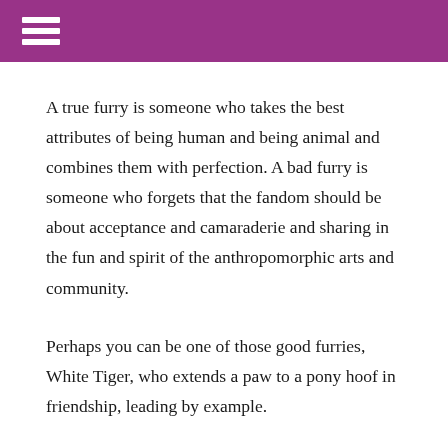☰
A true furry is someone who takes the best attributes of being human and being animal and combines them with perfection. A bad furry is someone who forgets that the fandom should be about acceptance and camaraderie and sharing in the fun and spirit of the anthropomorphic arts and community.
Perhaps you can be one of those good furries, White Tiger, who extends a paw to a pony hoof in friendship, leading by example.
Hugs,